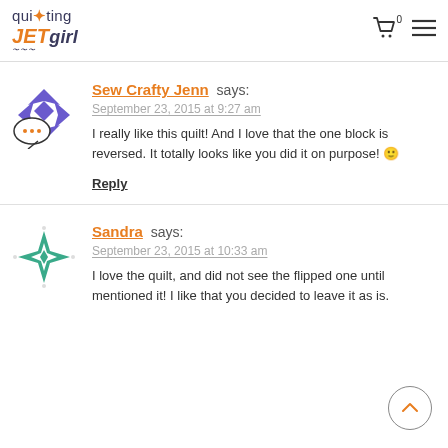quilting JETgirl
Sew Crafty Jenn says:
September 23, 2015 at 9:27 am
I really like this quilt! And I love that the one block is reversed. It totally looks like you did it on purpose! 😊
Reply
Sandra says:
September 23, 2015 at 10:33 am
I love the quilt, and did not see the flipped one until mentioned it! I like that you decided to leave it as is.